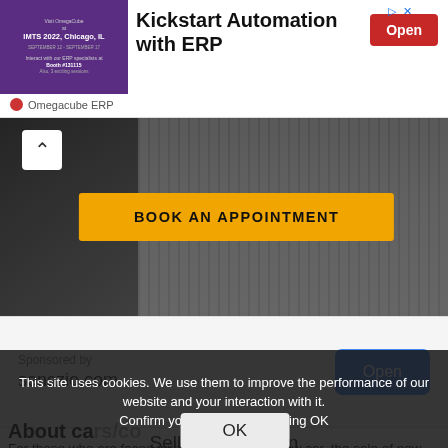[Figure (screenshot): Ad banner for Omegacube ERP with purple trade show image on left, bold text 'Kickstart Automation with ERP' and red Open button on right]
[Figure (photo): Dark background appointment booking section with orange 'BOOK AN APPOINTMENT' button and white chevron-up icon]
[Figure (screenshot): Sponsored ad section with 'Sponsored by senszio.com' text and blue Open button]
Seller Description
This site uses cookies. We use them to improve the performance of our website and your interaction with it. Confirm your consent by clicking OK
About ca[rs/r] [Confirm your consent by clicking OK overlay] bndu
For those who are faced with the choice of a new car, the sale of new cars from dealerships is intended,